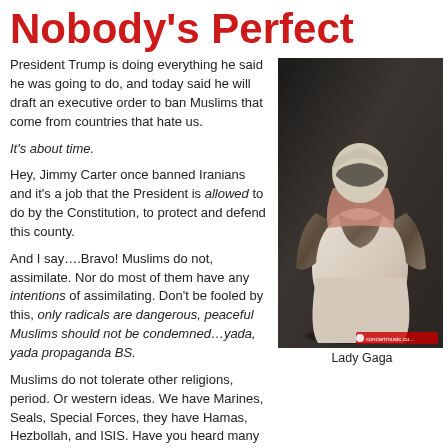Nobody's Perfect
President Trump is doing everything he said he was going to do, and today said he will draft an executive order to ban Muslims that come from countries that hate us.
It's about time.
Hey, Jimmy Carter once banned Iranians and it's a job that the President is allowed to do by the Constitution, to protect and defend this county.
And I say….Bravo! Muslims do not, assimilate. Nor do most of them have any intentions of assimilating. Don't be fooled by this, only radicals are dangerous, peaceful Muslims should not be condemned…yada, yada propaganda BS.
[Figure (photo): A person wearing a white coat, fur stole, mask and head covering — captioned Lady Gaga. Photo credit watermark visible (concertmusic.co...).]
Lady Gaga
Muslims do not tolerate other religions, period. Or western ideas. We have Marines, Seals, Special Forces, they have Hamas, Hezbollah, and ISIS. Have you heard many of the Muslims disown their jihad?